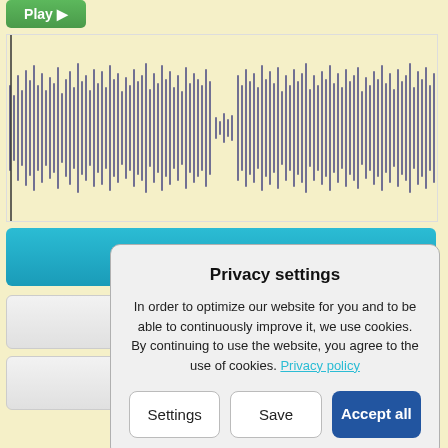[Figure (other): Green Play button with triangle icon]
[Figure (continuous-plot): Audio waveform visualization showing sound wave amplitude over time, dark blue/purple waveform on light yellow background]
Add to Cart
Download Preview
Find related Tracks
Privacy settings
In order to optimize our website for you and to be able to continuously improve it, we use cookies. By continuing to use the website, you agree to the use of cookies. Privacy policy
Settings
Save
Accept all